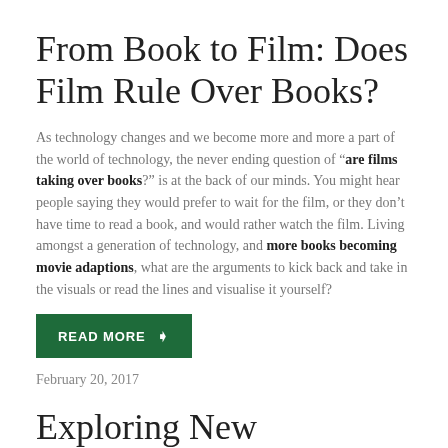From Book to Film: Does Film Rule Over Books?
As technology changes and we become more and more a part of the world of technology, the never ending question of “are films taking over books?” is at the back of our minds. You might hear people saying they would prefer to wait for the film, or they don’t have time to read a book, and would rather watch the film. Living amongst a generation of technology, and more books becoming movie adaptions, what are the arguments to kick back and take in the visuals or read the lines and visualise it yourself?
READ MORE ❯
February 20, 2017
Exploring New Techniques in Filming – ‘Shooting’